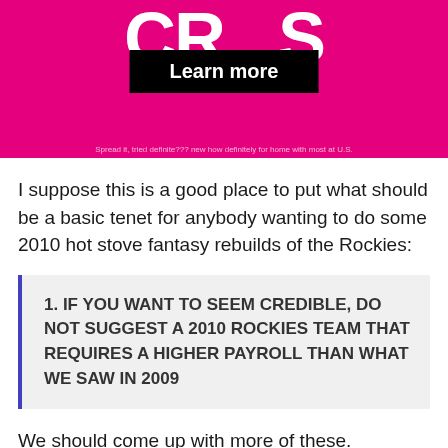[Figure (screenshot): Pink/magenta banner with 'Learn more' button and partial large white text letters at top]
I suppose this is a good place to put what should be a basic tenet for anybody wanting to do some 2010 hot stove fantasy rebuilds of the Rockies:
1. IF YOU WANT TO SEEM CREDIBLE, DO NOT SUGGEST A 2010 ROCKIES TEAM THAT REQUIRES A HIGHER PAYROLL THAN WHAT WE SAW IN 2009
We should come up with more of these.